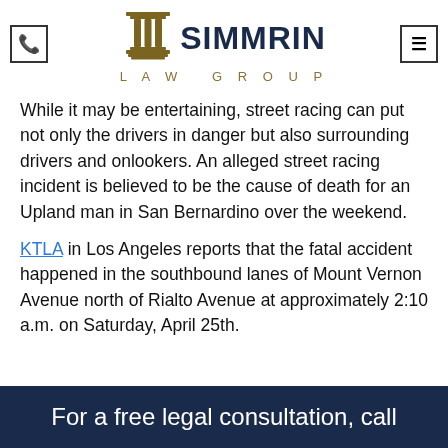Simmrin Law Group
While it may be entertaining, street racing can put not only the drivers in danger but also surrounding drivers and onlookers. An alleged street racing incident is believed to be the cause of death for an Upland man in San Bernardino over the weekend.
KTLA in Los Angeles reports that the fatal accident happened in the southbound lanes of Mount Vernon Avenue north of Rialto Avenue at approximately 2:10 a.m. on Saturday, April 25th.
For a free legal consultation, call